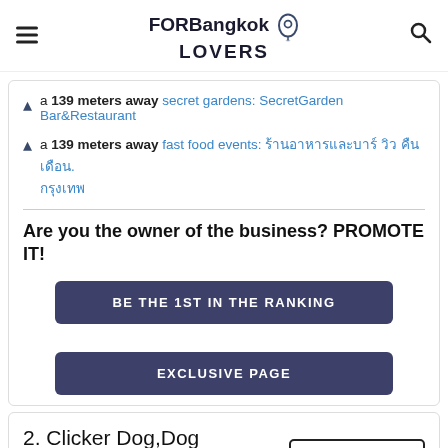FORBangkok LOVERS
a 139 meters away secret gardens: SecretGarden Bar&Restaurant
a 139 meters away fast food events: ร้านอาหารและบาร์ วิว คืน เดือน
Are you the owner of the business? PROMOTE IT!
BE THE 1ST IN THE RANKING
EXCLUSIVE PAGE
2. Clicker Dog,Dog Training School
LEAVE AN OPINION